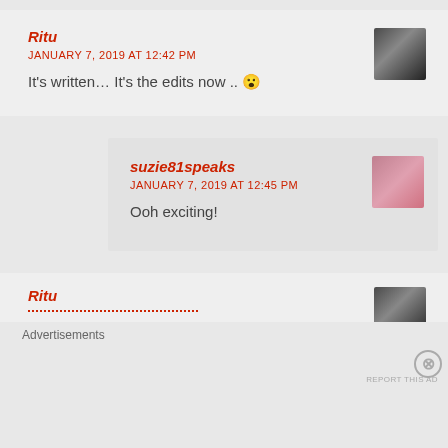Ritu
JANUARY 7, 2019 AT 12:42 PM
It's written... It's the edits now .. 😮
suzie81speaks
JANUARY 7, 2019 AT 12:45 PM
Ooh exciting!
Ritu
Advertisements